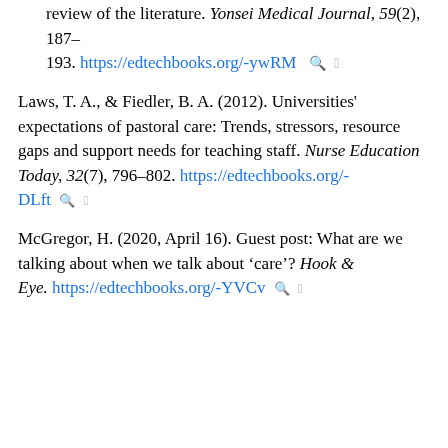review of the literature. Yonsei Medical Journal, 59(2), 187–193. https://edtechbooks.org/-ywRM
Laws, T. A., & Fiedler, B. A. (2012). Universities' expectations of pastoral care: Trends, stressors, resource gaps and support needs for teaching staff. Nurse Education Today, 32(7), 796–802. https://edtechbooks.org/-DLft
McGregor, H. (2020, April 16). Guest post: What are we talking about when we talk about 'care'? Hook & Eye. https://edtechbooks.org/-YVCv